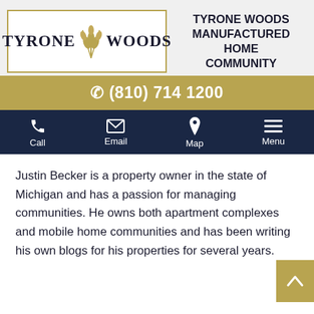[Figure (logo): Tyrone Woods logo with wheat graphic and text 'TYRONE WOODS' in serif bold font inside a gold-bordered rectangle]
TYRONE WOODS MANUFACTURED HOME COMMUNITY
(810) 714 1200
Call  Email  Map  Menu
Justin Becker is a property owner in the state of Michigan and has a passion for managing communities. He owns both apartment complexes and mobile home communities and has been writing his own blogs for his properties for several years.